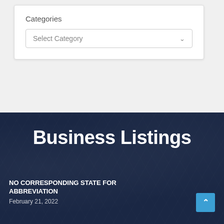Categories
Select Category
Business Listings
NO CORRESPONDING STATE FOR ABBREVIATION
February 21, 2022